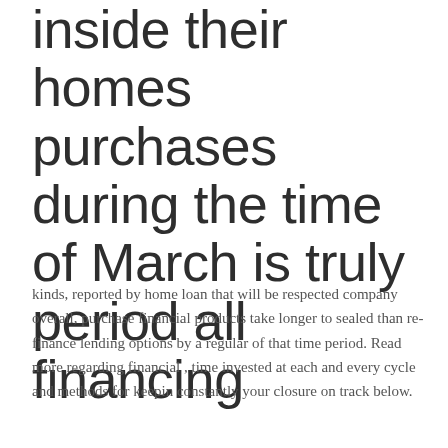inside their homes purchases during the time of March is truly period all financing
kinds, reported by home loan that will be respected company overall, purchase financial products take longer to sealed than re-finance lending options by a regular of that time period. Read more regarding financial , time invested at each and every cycle and methods for keepin constantly your closure on track below.